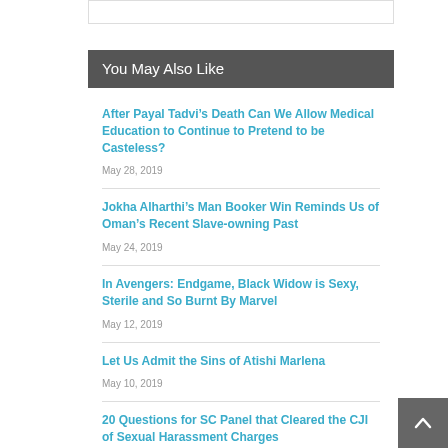You May Also Like
After Payal Tadvi’s Death Can We Allow Medical Education to Continue to Pretend to be Casteless?
May 28, 2019
Jokha Alharthi’s Man Booker Win Reminds Us of Oman’s Recent Slave-owning Past
May 24, 2019
In Avengers: Endgame, Black Widow is Sexy, Sterile and So Burnt By Marvel
May 12, 2019
Let Us Admit the Sins of Atishi Marlena
May 10, 2019
20 Questions for SC Panel that Cleared the CJI of Sexual Harassment Charges